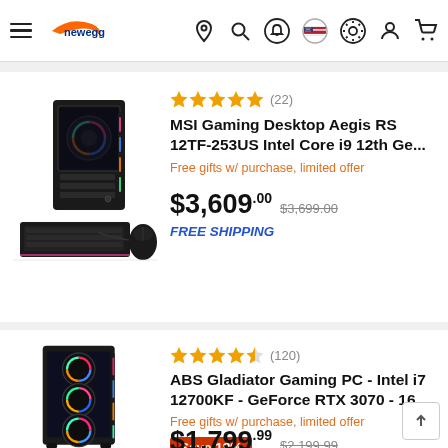Newegg header navigation
[Figure (photo): MSI Gaming Desktop with keyboard and mouse]
★★★★★ (22)
MSI Gaming Desktop Aegis RS 12TF-253US Intel Core i9 12th Ge...
Free gifts w/ purchase, limited offer
$3,609.00  $3,699.00
FREE SHIPPING
[Figure (photo): ABS Gladiator Gaming PC tower with RGB fans]
★★★★★ (120)
ABS Gladiator Gaming PC - Intel i7 12700KF - GeForce RTX 3070 - 16...
Free gifts w/ purchase, limited offer
Save 18%
$1,799.99  $2,199.99